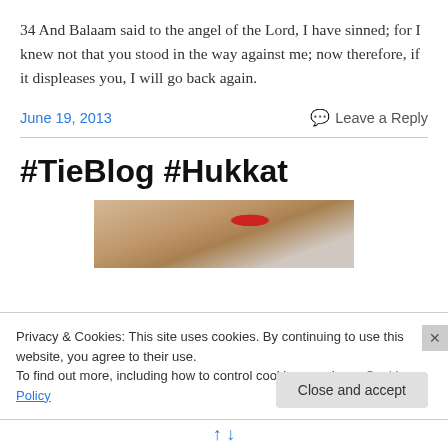34 And Balaam said to the angel of the Lord, I have sinned; for I knew not that you stood in the way against me; now therefore, if it displeases you, I will go back again.
June 19, 2013
Leave a Reply
#TieBlog #Hukkat
[Figure (photo): Partial photo showing what appears to be a tie or fabric with red accent, cropped at bottom of visible area]
Privacy & Cookies: This site uses cookies. By continuing to use this website, you agree to their use.
To find out more, including how to control cookies, see here: Cookie Policy
Close and accept